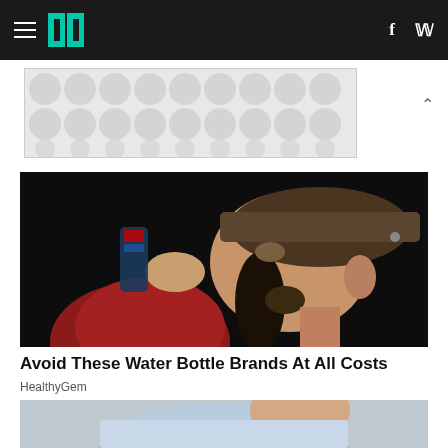HuffPost navigation — hamburger menu, logo, f, twitter icons
[Figure (other): Advertisement banner with grey bubble/circle pattern on white background]
[Figure (photo): Man with long dark hair and brown flat cap drinking from a water bottle, wearing a red jacket, dark background]
Avoid These Water Bottle Brands At All Costs
HealthyGem
[Figure (photo): Man in light blue t-shirt leaning forward, grey background, partially visible at bottom of page]